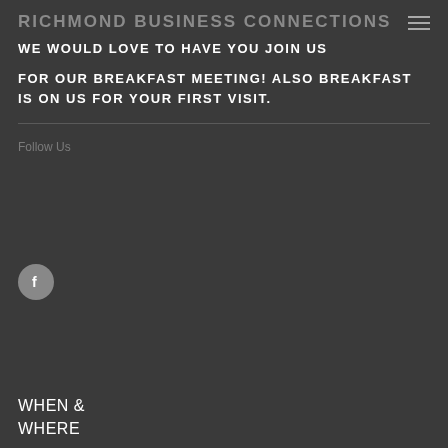RICHMOND BUSINESS CONNECTIONS
WE WOULD LOVE TO HAVE YOU JOIN US
FOR OUR BREAKFAST MEETING!  ALSO BREAKFAST IS ON US FOR YOUR FIRST VISIT.
Follow Us
[Figure (logo): Facebook icon — circular grey button with white 'f' logo]
WHEN & WHERE